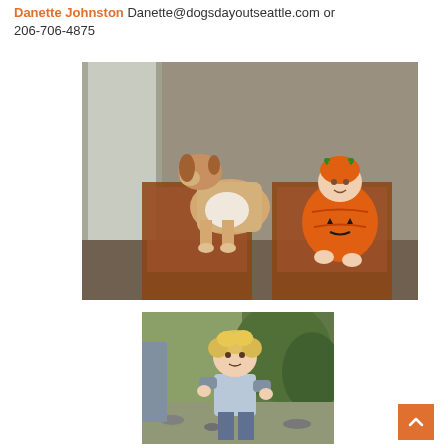Danette Johnston Danette@dogsdayoutseattle.com or 206-706-4875
[Figure (photo): A dog and a baby in a pumpkin Halloween costume sitting side by side on brown chairs near a window]
[Figure (photo): A young toddler with curly blonde hair wearing a light blue long-sleeve shirt, standing outdoors in a garden/yard area]